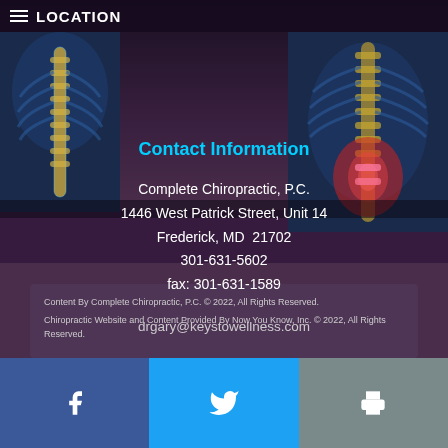LOCATION
Contact Information
Complete Chiropractic, P.C.
1446 West Patrick Street, Unit 14
Frederick, MD  21702
301-631-5602
fax: 301-631-1589
drgary@keystowellness.com
[Figure (photo): X-ray image of human spine on left side, blue tinted]
[Figure (photo): X-ray image of human spine on right side with red/pink highlighted area indicating pain]
Content By Complete Chiropractic, P.C. © 2022, All Rights Reserved. Chiropractic Website and Content Provided By Now You Know, Inc. © 2022, All Rights Reserved.